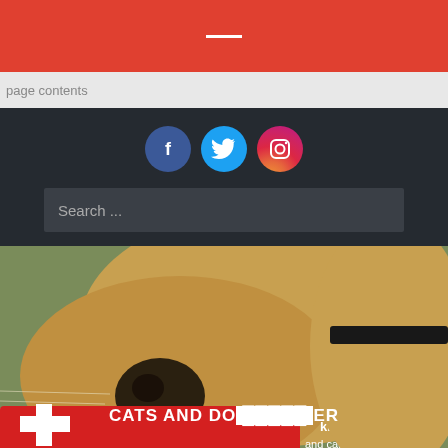—
page contents
[Figure (illustration): Social media icons: Facebook (blue circle with f), Twitter (light blue circle with bird), Instagram (pink/magenta circle with camera)]
Search ...
[Figure (photo): Close-up photo of a golden/Akita dog's nose resting on a red pet first aid kit bag with text 'kit' and 'and cats' visible. Text overlay reads 'CATS AND DO...ER' and 'Pet First Aid' at the bottom.]
CATS AND DO...ER
Pet First Aid